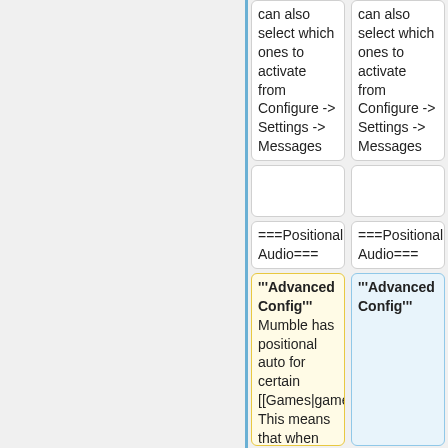can also select which ones to activate from Configure -> Settings -> Messages
===Positional Audio===
'''Advanced Config''' Mumble has positional auto for certain [[Games|games]]. This means that when enabled, the
can also select which ones to activate from Configure -> Settings -> Messages
===Positional Audio===
'''Advanced Config'''